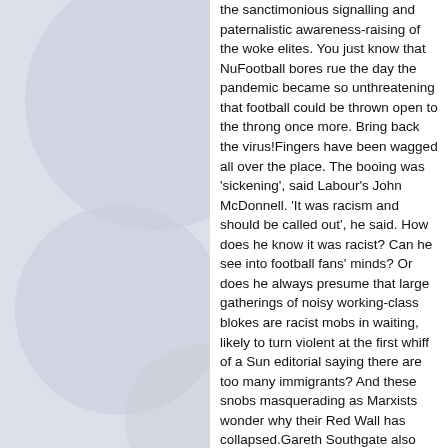[Figure (illustration): Decorative light grey overlapping circles on a light blue-grey background, positioned on the left side of the page]
the sanctimonious signalling and paternalistic awareness-raising of the woke elites. You just know that NuFootball bores rue the day the pandemic became so unthreatening that football could be thrown open to the throng once more. Bring back the virus!Fingers have been wagged all over the place. The booing was 'sickening', said Labour's John McDonnell. 'It was racism and should be called out', he said. How does he know it was racist? Can he see into football fans' minds? Or does he always presume that large gatherings of noisy working-class blokes are racist mobs in waiting, likely to turn violent at the first whiff of a Sun editorial saying there are too many immigrants? And these snobs masquerading as Marxists wonder why their Red Wall has collapsed.Gareth Southgate also condemned the booing. It confirms that 'some people aren't quite understanding the message', he said. I think the booing shows people are getting the message, loud and clear. They're getting the message that the football authorities and its big-business and big-media backers think they're all a bunch of social Neanderthals who must be subjected to 'anti-racist' rituals and signalling at every game in order to reshape their brains in a woker mould. That's why they boo – not because they're racist (football fans cheer black players all the time), but because they're sick of being